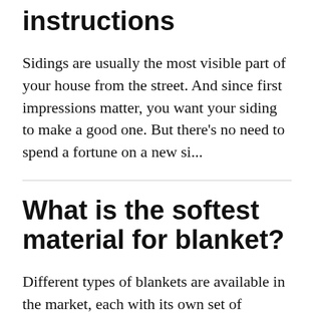instructions
Sidings are usually the most visible part of your house from the street. And since first impressions matter, you want your siding to make a good one. But there's no need to spend a fortune on a new si...
What is the softest material for blanket?
Different types of blankets are available in the market, each with its own set of